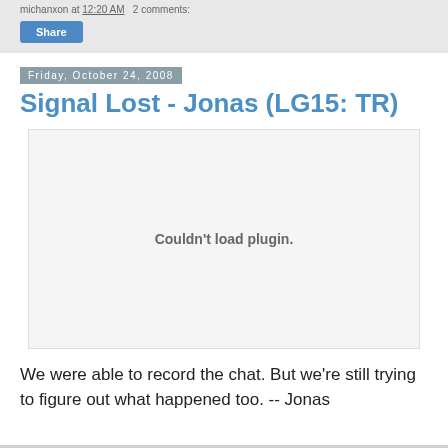michanxon at 12:20 AM   2 comments:
Share
Friday, October 24, 2008
Signal Lost - Jonas (LG15: TR)
[Figure (other): Embedded video plugin placeholder showing 'Couldn't load plugin.']
We were able to record the chat. But we're still trying to figure out what happened too. -- Jonas